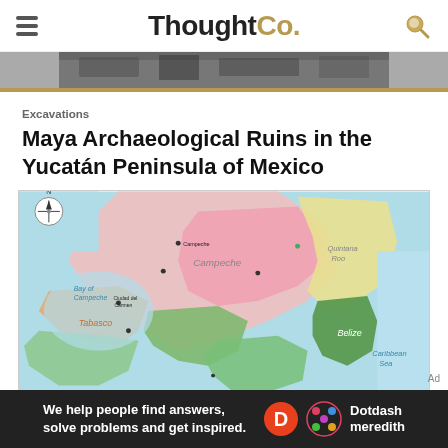ThoughtCo.
[Figure (photo): Partial black and white photo strip of trees/ruins at top of page]
Excavations
Maya Archaeological Ruins in the Yucatán Peninsula of Mexico
[Figure (map): Color map of the Yucatán Peninsula of Mexico showing regions including Campeche, Tabasco, Quintana Roo, Belize, and surrounding areas including Bay of Campeche and Caribbean Sea]
Ad
[Figure (logo): Dotdash Meredith advertisement banner reading: We help people find answers, solve problems and get inspired.]